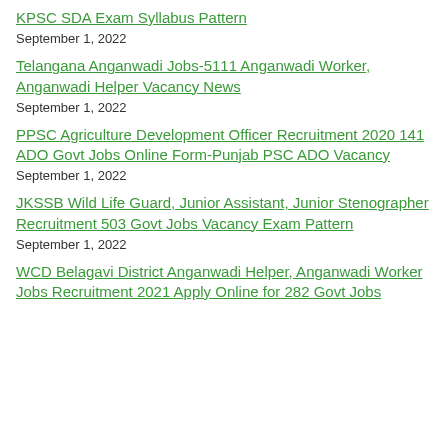KPSC SDA Exam Syllabus Pattern
September 1, 2022
Telangana Anganwadi Jobs-5111 Anganwadi Worker, Anganwadi Helper Vacancy News
September 1, 2022
PPSC Agriculture Development Officer Recruitment 2020 141 ADO Govt Jobs Online Form-Punjab PSC ADO Vacancy
September 1, 2022
JKSSB Wild Life Guard, Junior Assistant, Junior Stenographer Recruitment 503 Govt Jobs Vacancy Exam Pattern
September 1, 2022
WCD Belagavi District Anganwadi Helper, Anganwadi Worker Jobs Recruitment 2021 Apply Online for 282 Govt Jobs